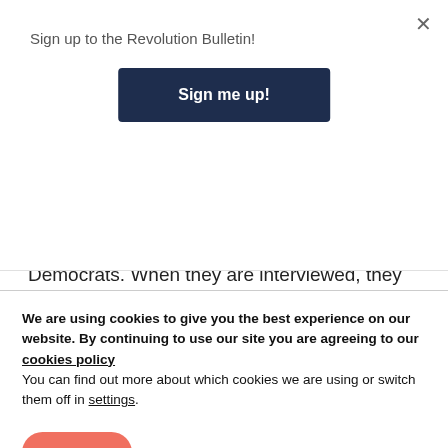Sign up to the Revolution Bulletin!
Sign me up!
votes in the last election and many of these were working-class people who previously voted for Obama but are disillusioned with the Democrats. When they are interviewed, they say: “Washington doesn’t care about us! We’re the forgotten people!”
[Figure (photo): Red banner image strip]
We are using cookies to give you the best experience on our website. By continuing to use our site you are agreeing to our cookies policy
You can find out more about which cookies we are using or switch them off in settings.
Accept